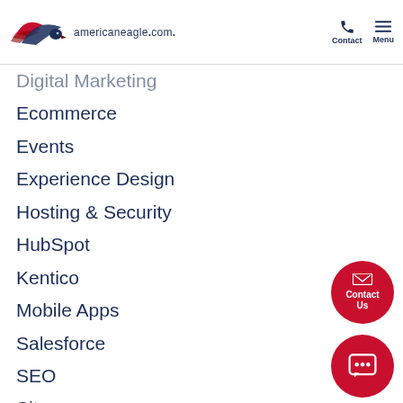americaneagle.com. Contact Menu
Digital Marketing
Ecommerce
Events
Experience Design
Hosting & Security
HubSpot
Kentico
Mobile Apps
Salesforce
SEO
Sitecore
Sitefinity
Strategy & Insights
Web & Application Development